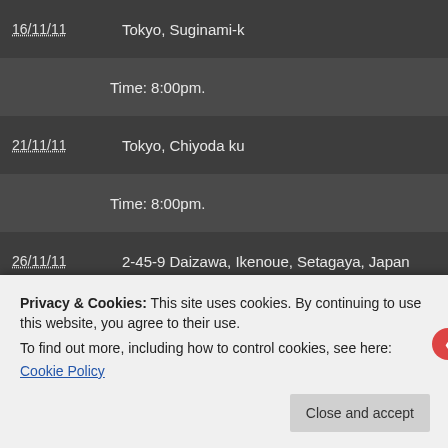16/11/11 | Tokyo, Suginami-k
Time: 8:00pm.
21/11/11 | Tokyo, Chiyoda ku
Time: 8:00pm.
26/11/11 | 2-45-9 Daizawa, Ikenoue, Setagaya, Japan
Time: 8:00pm. With Sorcha Chisholm and Remedy's Li
01/12/11 | 181-2 Zaimoku-cho new-Kyoto bldg. 3F, Kiyamachi Do
Time: 8:00pm.
02/12/11 | ???
Privacy & Cookies: This site uses cookies. By continuing to use this website, you agree to their use.
To find out more, including how to control cookies, see here: Cookie Policy
Close and accept